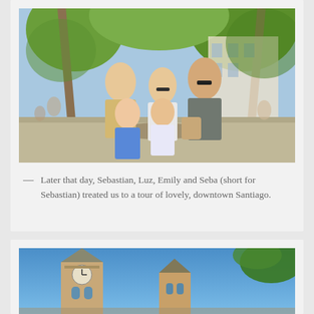[Figure (photo): Family group photo outdoors in downtown Santiago, Chile. Five people including two adults, a young boy in blue shirt, a girl, and a woman with sunglasses and a bag. Palm trees and a building visible in the background on a sunny day.]
— Later that day, Sebastian, Luz, Emily and Seba (short for Sebastian) treated us to a tour of lovely, downtown Santiago.
[Figure (photo): Upward-angle photograph of church towers with pointed steeples and a clock, surrounded by palm trees against a bright blue sky in downtown Santiago.]